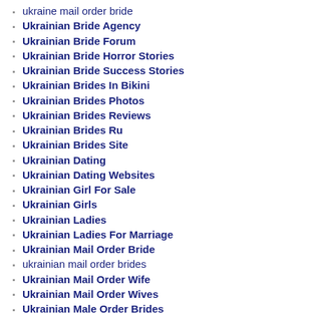ukraine mail order bride
Ukrainian Bride Agency
Ukrainian Bride Forum
Ukrainian Bride Horror Stories
Ukrainian Bride Success Stories
Ukrainian Brides In Bikini
Ukrainian Brides Photos
Ukrainian Brides Reviews
Ukrainian Brides Ru
Ukrainian Brides Site
Ukrainian Dating
Ukrainian Dating Websites
Ukrainian Girl For Sale
Ukrainian Girls
Ukrainian Ladies
Ukrainian Ladies For Marriage
Ukrainian Mail Order Bride
ukrainian mail order brides
Ukrainian Mail Order Wife
Ukrainian Mail Order Wives
Ukrainian Male Order Brides